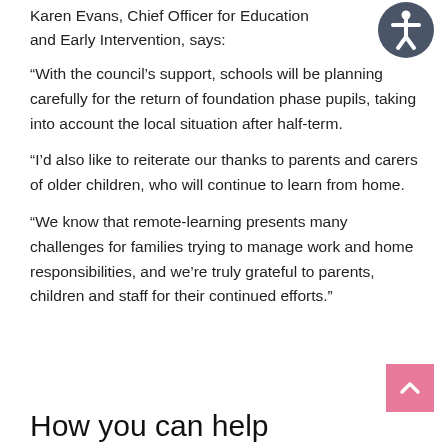Karen Evans, Chief Officer for Education and Early Intervention, says:
“With the council’s support, schools will be planning carefully for the return of foundation phase pupils, taking into account the local situation after half-term.
“I’d also like to reiterate our thanks to parents and carers of older children, who will continue to learn from home.
“We know that remote-learning presents many challenges for families trying to manage work and home responsibilities, and we’re truly grateful to parents, children and staff for their continued efforts.”
How you can help